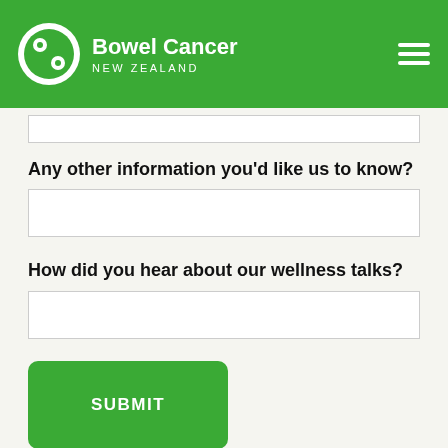Bowel Cancer NEW ZEALAND
Any other information you'd like us to know?
How did you hear about our wellness talks?
SUBMIT